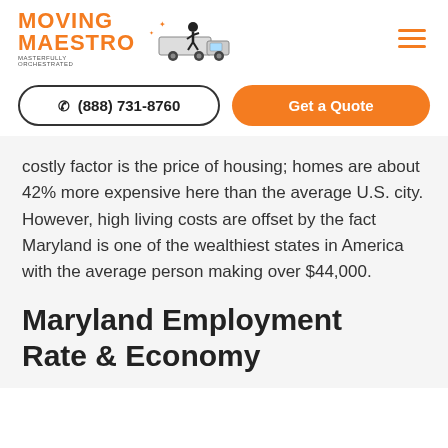[Figure (logo): Moving Maestro logo with truck illustration and text MOVING MAESTRO MASTERFULLY ORCHESTRATED]
(888) 731-8760
Get a Quote
costly factor is the price of housing; homes are about 42% more expensive here than the average U.S. city. However, high living costs are offset by the fact Maryland is one of the wealthiest states in America with the average person making over $44,000.
Maryland Employment Rate & Economy